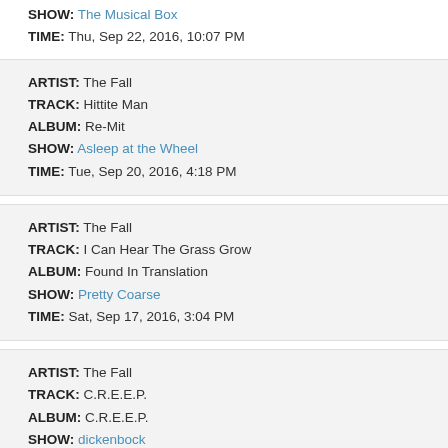SHOW: The Musical Box
TIME: Thu, Sep 22, 2016, 10:07 PM
ARTIST: The Fall
TRACK: Hittite Man
ALBUM: Re-Mit
SHOW: Asleep at the Wheel
TIME: Tue, Sep 20, 2016, 4:18 PM
ARTIST: The Fall
TRACK: I Can Hear The Grass Grow
ALBUM: Found In Translation
SHOW: Pretty Coarse
TIME: Sat, Sep 17, 2016, 3:04 PM
ARTIST: The Fall
TRACK: C.R.E.E.P.
ALBUM: C.R.E.E.P.
SHOW: dickenbock
TIME: Fri, Jul 29, 2016, 8:34 PM
ARTIST: The Fall
TRACK: Sparta 2xx